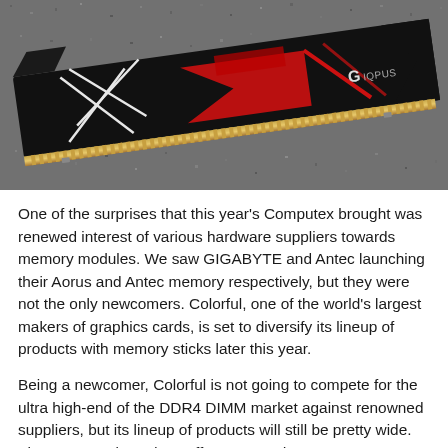[Figure (photo): A Gigabyte Aorus DDR4 memory module (RAM stick) with a black aluminum heat spreader featuring red and white angular design elements and the Aorus/G logo, photographed against a grey textured surface.]
One of the surprises that this year's Computex brought was renewed interest of various hardware suppliers towards memory modules. We saw GIGABYTE and Antec launching their Aorus and Antec memory respectively, but they were not the only newcomers. Colorful, one of the world's largest makers of graphics cards, is set to diversify its lineup of products with memory sticks later this year.
Being a newcomer, Colorful is not going to compete for the ultra high-end of the DDR4 DIMM market against renowned suppliers, but its lineup of products will still be pretty wide. The company intends to offer 8 GB and 16 GB DDR4 DIMMs rated up to DDR4-3600 and targeting platforms with dual-channel memory sub-systems. In line with the latest trends, the modules will be outfitted with aluminum heat spreaders of different colors (red, blue, yellow, purple, metallic, etc.) and with LED or even RGB LED lighting.